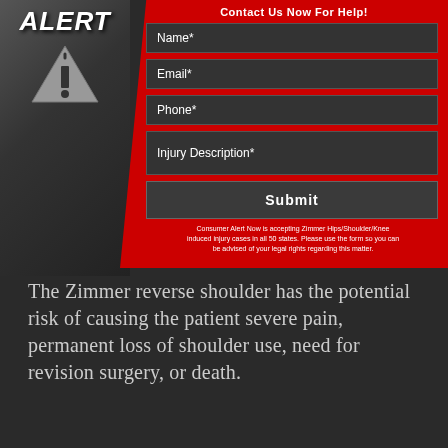[Figure (infographic): Consumer Alert Now contact form widget with red background, dark left panel showing ALERT text and triangle/info icon, and form fields for Name, Email, Phone, Injury Description, and a Submit button]
The Zimmer reverse shoulder has the potential risk of causing the patient severe pain, permanent loss of shoulder use, need for revision surgery, or death.